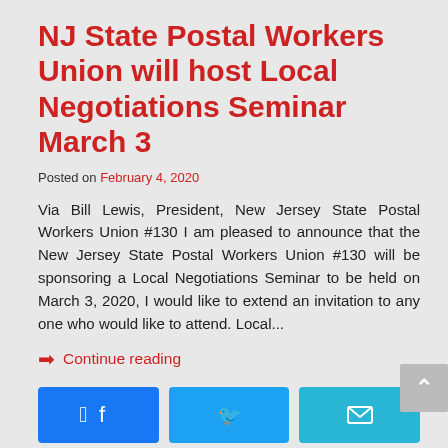NJ State Postal Workers Union will host Local Negotiations Seminar March 3
Posted on February 4, 2020
Via Bill Lewis, President, New Jersey State Postal Workers Union #130 I am pleased to announce that the New Jersey State Postal Workers Union #130 will be sponsoring a Local Negotiations Seminar to be held on March 3, 2020, I would like to extend an invitation to any one who would like to attend. Local...
➡ Continue reading
Posted in General Union Business  Tagged Bill Lewis, Bob